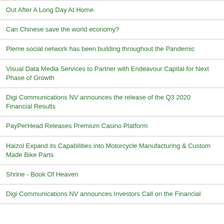Out After A Long Day At Home.
Can Chinese save the world economy?
Pleme social network has been building throughout the Pandemic
Visual Data Media Services to Partner with Endeavour Capital for Next Phase of Growth
Digi Communications NV announces the release of the Q3 2020 Financial Results
PayPerHead Releases Premium Casino Platform
Haizol Expand its Capabilities into Motorcycle Manufacturing & Custom Made Bike Parts
Shrine - Book Of Heaven
Digi Communications NV announces Investors Call on the Financial...